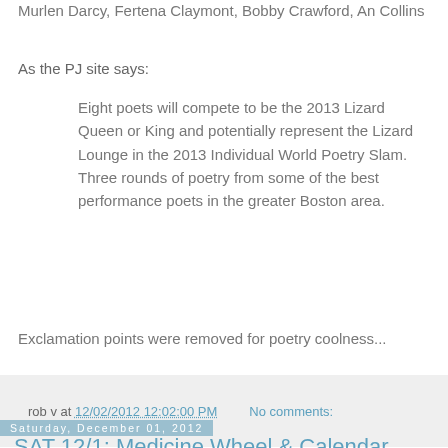Murlen Darcy, Fertena Claymont, Bobby Crawford, An Collins
As the PJ site says:
Eight poets will compete to be the 2013 Lizard Queen or King and potentially represent the Lizard Lounge in the 2013 Individual World Poetry Slam. Three rounds of poetry from some of the best performance poets in the greater Boston area.
Exclamation points were removed for poetry coolness...
rob v at 12/02/2012 12:02:00 PM    No comments:
Saturday, December 01, 2012
SAT 12/1: Medicine Wheel & Calendar